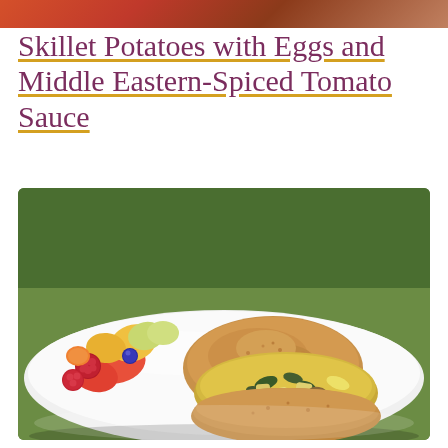[Figure (photo): Top strip showing partial food/drink image from above]
Skillet Potatoes with Eggs and Middle Eastern-Spiced Tomato Sauce
[Figure (photo): Food photograph showing a white plate with an egg and potato frittata sandwich on a whole wheat english muffin, served with fresh fruit including raspberries, blueberries, cantaloupe, and watermelon, on a green background]